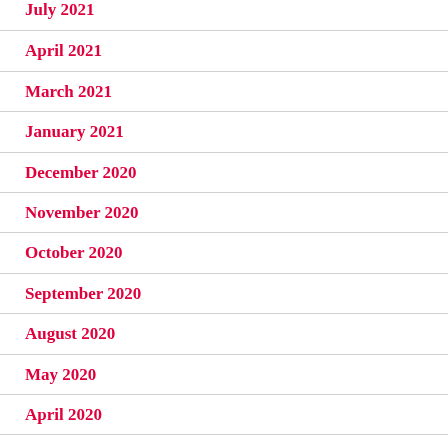July 2021
April 2021
March 2021
January 2021
December 2020
November 2020
October 2020
September 2020
August 2020
May 2020
April 2020
March 2020